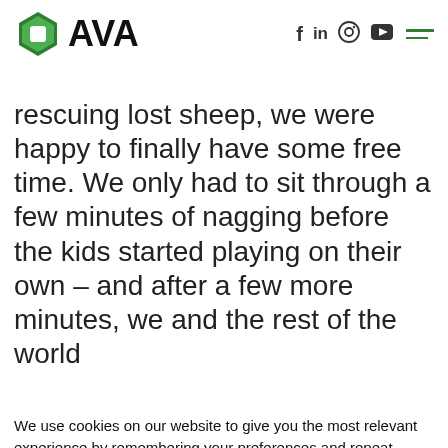AVA
rescuing lost sheep, we were happy to finally have some free time. We only had to sit through a few minutes of nagging before the kids started playing on their own – and after a few more minutes, we and the rest of the world
We use cookies on our website to give you the most relevant experience by remembering your preferences and repeat visits. By clicking "Accept All", you consent to the use of ALL the cookies. However, you may visit "Cookie Settings" to provide a controlled consent. Privacy Policy
Cookie Settings | Accept All